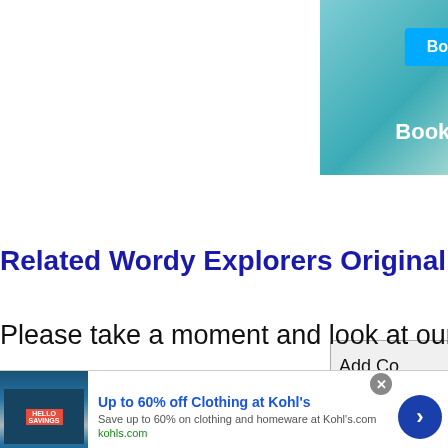[Figure (screenshot): Booking.com advertisement with 'Book now' button and teal pool/beach background]
[Figure (screenshot): Add Comment button (partially visible, truncated)]
Related Wordy Explorers Original Po
Please take a moment and look at our
[Figure (screenshot): Kohl's advertisement banner: 'Up to 60% off Clothing at Kohl's', 'Save up to 60% on clothing and homeware at Kohl's.com', 'kohls.com']